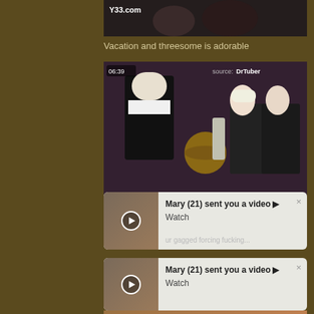[Figure (screenshot): Top partial video thumbnail with Y33.com watermark]
Vacation and threesome is adorable
[Figure (screenshot): Video player showing three women, duration 06:39, source DrTuber]
[Figure (screenshot): Notification popup: Mary (21) sent you a video, Watch]
[Figure (screenshot): Notification popup: Mary (21) sent you a video, Watch]